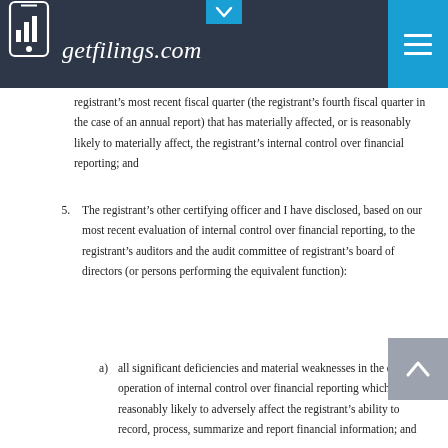getfilings.com
registrant’s most recent fiscal quarter (the registrant’s fourth fiscal quarter in the case of an annual report) that has materially affected, or is reasonably likely to materially affect, the registrant’s internal control over financial reporting; and
5. The registrant’s other certifying officer and I have disclosed, based on our most recent evaluation of internal control over financial reporting, to the registrant’s auditors and the audit committee of registrant’s board of directors (or persons performing the equivalent function):
a) all significant deficiencies and material weaknesses in the design or operation of internal control over financial reporting which are reasonably likely to adversely affect the registrant’s ability to record, process, summarize and report financial information; and